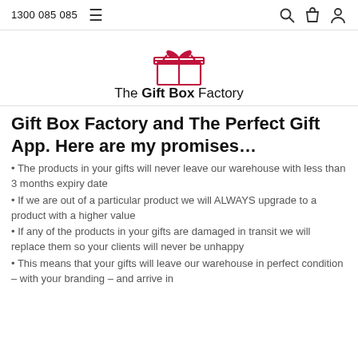1300 085 085
[Figure (logo): The Gift Box Factory logo — red gift box with bow ribbon above text reading 'The Gift Box Factory']
Gift Box Factory and The Perfect Gift App. Here are my promises…
The products in your gifts will never leave our warehouse with less than 3 months expiry date
If we are out of a particular product we will ALWAYS upgrade to a product with a higher value
If any of the products in your gifts are damaged in transit we will replace them so your clients will never be unhappy
This means that your gifts will leave our warehouse in perfect condition – with your branding – and arrive in